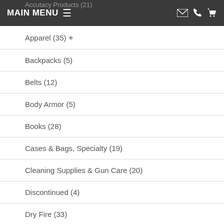Accutacy Products (21)
MAIN MENU
Apparel (35)
Backpacks (5)
Belts (12)
Body Armor (5)
Books (28)
Cases & Bags, Specialty (19)
Cleaning Supplies & Gun Care (20)
Discontinued (4)
Dry Fire (33)
Dummy Ammo (10)